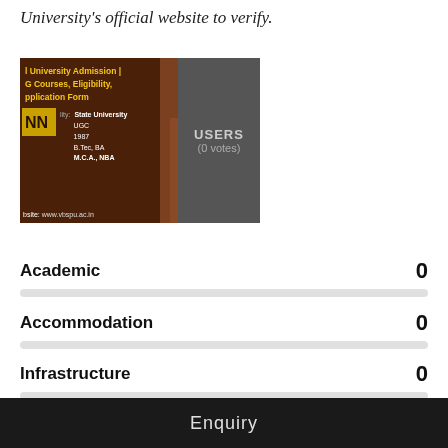University's official website to verify.
[Figure (screenshot): Screenshot of a university admission information page showing VBS Purvanchal University details: State University, UGC, 1987, B.Tec, BA, M.C.A., NBA, website: www.vbspu.ac.in, with an arch building image and USERS (0 votes) panel]
Academic   0
Accommodation   0
Infrastructure   0
Faculty   0
Enquiry